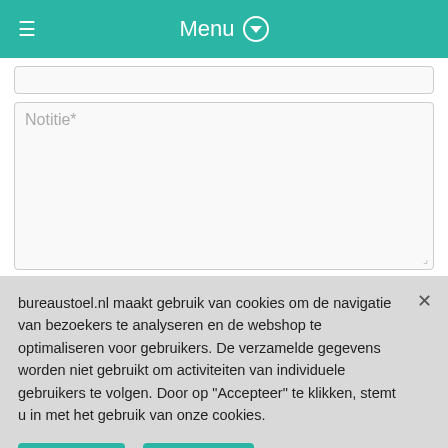Menu
Notitie*
bureaustoel.nl maakt gebruik van cookies om de navigatie van bezoekers te analyseren en de webshop te optimaliseren voor gebruikers. De verzamelde gegevens worden niet gebruikt om activiteiten van individuele gebruikers te volgen. Door op "Accepteer" te klikken, stemt u in met het gebruik van onze cookies.
Meer info
Accepteer
Cookie voorkeuren